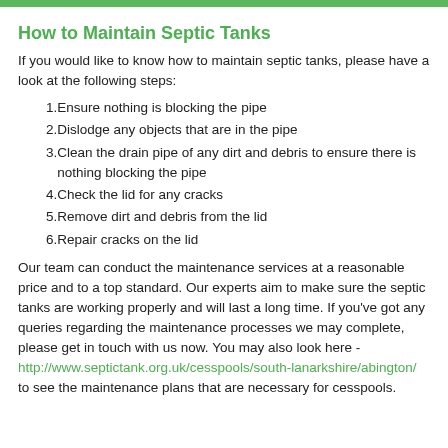How to Maintain Septic Tanks
If you would like to know how to maintain septic tanks, please have a look at the following steps:
Ensure nothing is blocking the pipe
Dislodge any objects that are in the pipe
Clean the drain pipe of any dirt and debris to ensure there is nothing blocking the pipe
Check the lid for any cracks
Remove dirt and debris from the lid
Repair cracks on the lid
Our team can conduct the maintenance services at a reasonable price and to a top standard. Our experts aim to make sure the septic tanks are working properly and will last a long time. If you've got any queries regarding the maintenance processes we may complete, please get in touch with us now. You may also look here - http://www.septictank.org.uk/cesspools/south-lanarkshire/abington/ to see the maintenance plans that are necessary for cesspools.